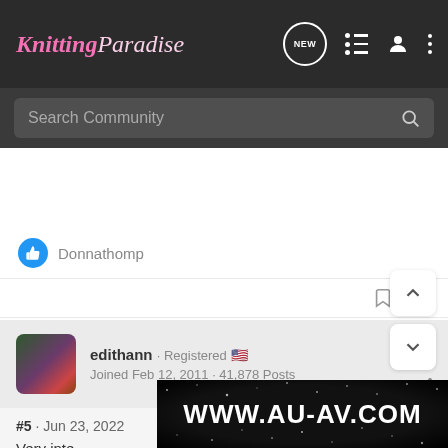Knitting Paradise
Search Community
Donnathomp
edithann · Registered
Joined Feb 12, 2011 · 41,878 Posts
#5 · Jun 23, 2022
Very inte
[Figure (screenshot): Advertisement banner with text WWW.AU-AV.COM on dark starry background]